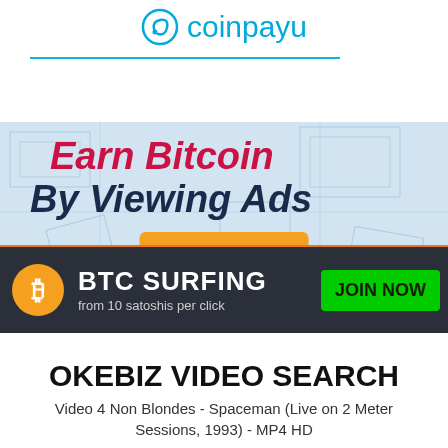[Figure (logo): CoinPayu logo with cyan swirl icon and text 'coinpayu' in cyan]
[Figure (infographic): CoinPayu advertisement banner: 'Earn Bitcoin By Viewing Ads' with orange 'click here' button on blueprint background]
[Figure (infographic): BTC Surfing banner: dark background, orange Bitcoin circle icon, 'BTC SURFING from 10 satoshis per click', green 'JOIN NOW' button]
OKEBIZ VIDEO SEARCH
Video 4 Non Blondes - Spaceman (Live on 2 Meter Sessions, 1993) - MP4 HD